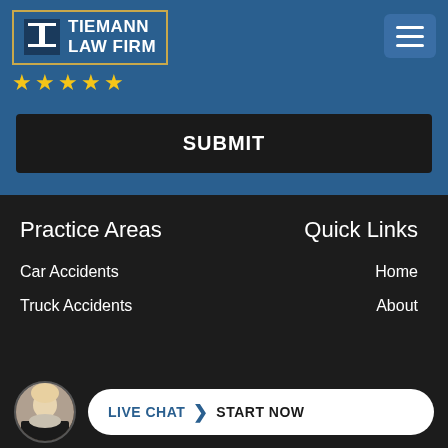[Figure (logo): Tiemann Law Firm logo with gold border, T icon, firm name text, and five gold stars below]
[Figure (other): Hamburger menu button (three horizontal lines) on blue background]
SUBMIT
Practice Areas
Quick Links
Car Accidents
Home
Truck Accidents
About
[Figure (other): Live chat bar at bottom with circular avatar photo of blonde woman, white pill-shaped button reading LIVE CHAT > START NOW]